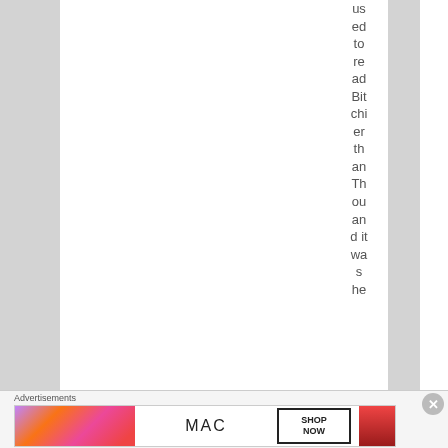used to read Bitchier than Thou and it was he
[Figure (photo): MAC cosmetics advertisement banner with lipsticks and SHOP NOW button]